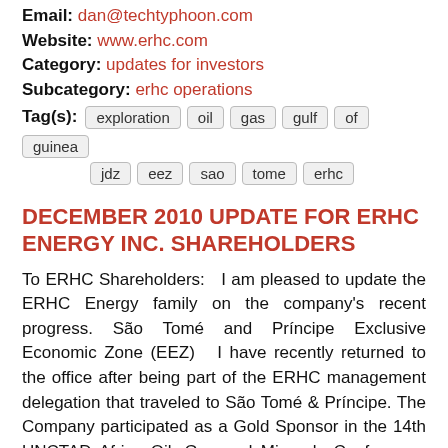Email: dan@techtyphoon.com
Website: www.erhc.com
Category: updates for investors
Subcategory: erhc operations
Tag(s): exploration  oil  gas  gulf  of  guinea  jdz  eez  sao  tome  erhc
DECEMBER 2010 UPDATE FOR ERHC ENERGY INC. SHAREHOLDERS
To ERHC Shareholders:   I am pleased to update the ERHC Energy family on the company's recent progress. São Tomé and Príncipe Exclusive Economic Zone (EEZ)   I have recently returned to the office after being part of the ERHC management delegation that traveled to São Tomé & Príncipe. The Company participated as a Gold Sponsor in the 14th UNCTAD Africa Oil, Gas and Minerals Conference, which was held between November 21st and 24th on the island of São Tomé.  While there, we had numerous meetings with government officials as well as with representatives of oil and gas exploration companies